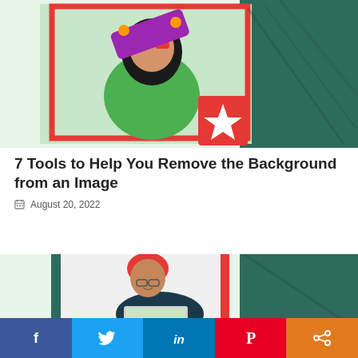[Figure (photo): Collage image showing a young woman in green holding a colorful skateboard with red sunglasses, overlaid with a red frame and a dark teal water texture background with a red star badge]
7 Tools to Help You Remove the Background from an Image
August 20, 2022
[Figure (photo): Blog article thumbnail showing a man wearing a red beanie hat and glasses smiling while working on a laptop, with a teal water texture on the right and a red vertical stripe]
[Figure (infographic): Social sharing bar with Facebook, Twitter, LinkedIn, Pinterest, and share icons]